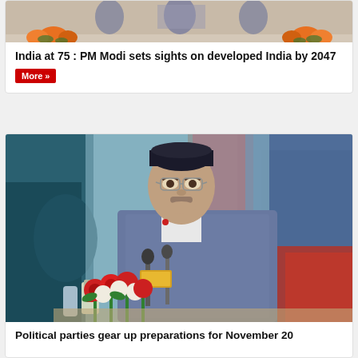[Figure (photo): Photo of PM Modi at a podium with orange flower decorations]
India at 75 : PM Modi sets sights on developed India by 2047
More »
[Figure (photo): Photo of KP Sharma Oli seated at a press conference with microphones and red flowers in foreground, Nepal flag visible in background]
Political parties gear up preparations for November 20